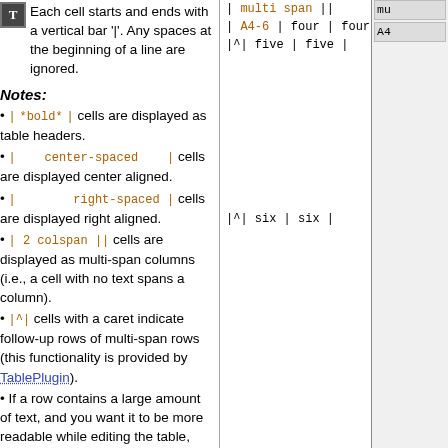Each cell starts and ends with a vertical bar '|'. Any spaces at the beginning of a line are ignored.
Notes:
| *bold* | cells are displayed as table headers.
| center-spaced | cells are displayed center aligned.
| right-spaced | cells are displayed right aligned.
| 2 colspan || cells are displayed as multi-span columns (i.e., a cell with no text spans a column).
|^| cells with a caret indicate follow-up rows of multi-span rows (this functionality is provided by TablePlugin).
If a row contains a large amount of text, and you want it to be more readable while editing the table, split the row into multiple
| multi span ||
| A4-6 | four | four |
|^| five | five |
|^| six | six |
mu
A4